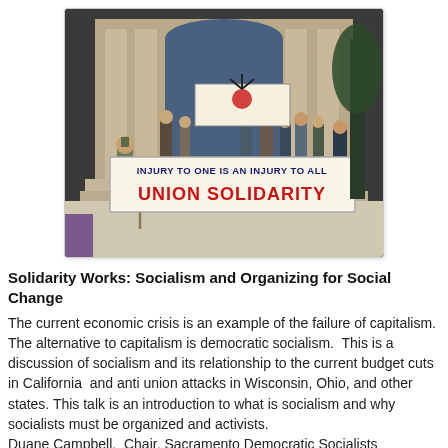[Figure (photo): Outdoor protest scene in front of a classical building. People holding a large banner reading 'INJURY TO ONE IS AN INJURY TO ALL / UNION SOLIDARITY'. A smaller banner with a fist/star logo is visible in the background.]
Solidarity Works: Socialism and Organizing for Social Change
The current economic crisis is an example of the failure of capitalism. The alternative to capitalism is democratic socialism.  This is a discussion of socialism and its relationship to the current budget cuts in California  and anti union attacks in Wisconsin, Ohio, and other states. This talk is an introduction to what is socialism and why socialists must be organized and activists.
Duane Campbell.  Chair. Sacramento Democratic Socialists